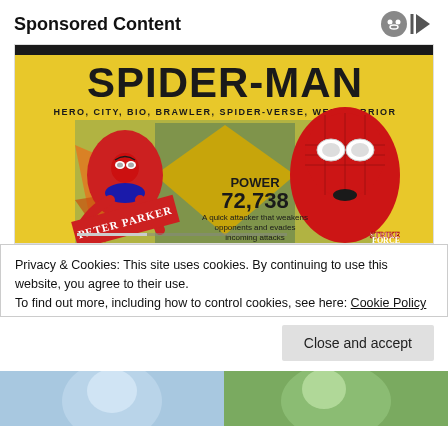Sponsored Content
[Figure (screenshot): Spider-Man Marvel Strike Force game card advertisement. Yellow background with large black text 'SPIDER-MAN', subtitle 'HERO, CITY, BIO, BRAWLER, SPIDER-VERSE, WEB-WARRIOR'. Shows animated Spider-Man on left labeled 'PETER PARKER' and realistic Spider-Man on right. Center text: 'POWER 72,738' and 'A quick attacker that weakens opponents and evades incoming attacks'. Marvel Strike Force logo bottom right. Media controls visible.]
Privacy & Cookies: This site uses cookies. By continuing to use this website, you agree to their use.
To find out more, including how to control cookies, see here: Cookie Policy
Close and accept
[Figure (photo): Two partial photos at bottom of page — left shows a person in light blue tones, right shows a person in green/outdoor tones]